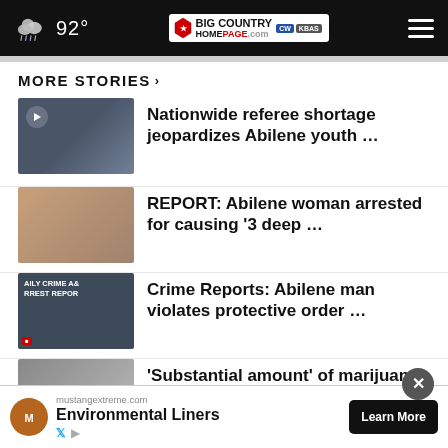92° Big Country Homepage
MORE STORIES ›
Nationwide referee shortage jeopardizes Abilene youth …
REPORT: Abilene woman arrested for causing '3 deep …
Crime Reports: Abilene man violates protective order …
'Substantial amount' of marijuana, cocaine & more …
due to drought, …
mustangextreme.com Environmental Liners Learn More